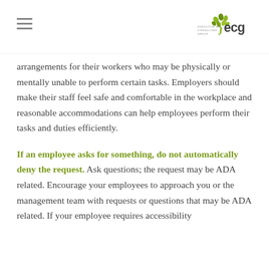Executive HR Consulting Group (ECG) logo and hamburger menu
arrangements for their workers who may be physically or mentally unable to perform certain tasks. Employers should make their staff feel safe and comfortable in the workplace and reasonable accommodations can help employees perform their tasks and duties efficiently.
If an employee asks for something, do not automatically deny the request. Ask questions; the request may be ADA related. Encourage your employees to approach you or the management team with requests or questions that may be ADA related. If your employee requires accessibility